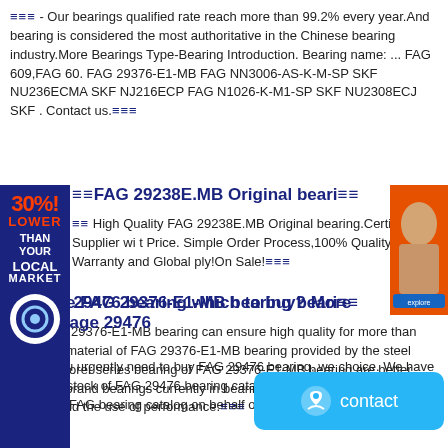≡≡≡ - Our bearings qualified rate reach more than 99.2% every year.And bearing is considered the most authoritative in the Chinese bearing industry.More Bearings Type-Bearing Introduction. Bearing name: ... FAG 609,FAG 60. FAG 29376-E1-MB FAG NN3006-AS-K-M-SP SKF NU236ECMA SKF NJ216ECP FAG N1026-K-M1-SP SKF NU2308ECJ SKF . Contact us.≡≡≡
≡≡FAG 29238E.MB Original beari≡≡
≡≡ High Quality FAG 29238E.MB Original bearing.Certified Supplier wi t Price. Simple Order Process,100% Quality Warranty and Global ply!On Sale!≡≡≡
≡≡Duke FAG 29376-E1-MB bearing beari≡≡
≡≡≡ FAG 29376-E1-MB bearing can ensure high quality for more than 80% raw material of FAG 29376-E1-MB bearing provided by the steel plant.Explorer series bearing of FAG 29376-E1-MB bearing are better than any brand bearings currently in bearing performance , lifetime, design, and the use of performance.≡≡≡
≡≡FAG 29476 bearing which to buy? More Advantage 29476 ≡≡
≡≡≡ If you urgently need to buy FAG 29476 bearing, we choice. We have sufficient stock of FAG 29476 bearing catalog—Today it is my honour to introduce FAG bearing catalog on behalf of